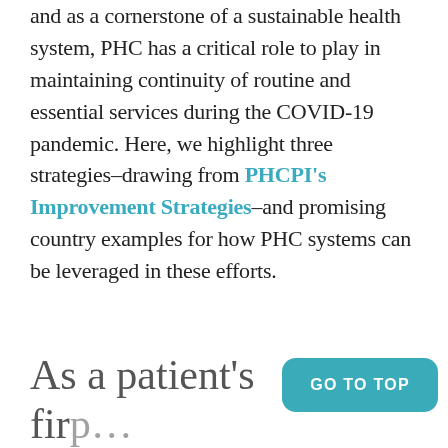and as a cornerstone of a sustainable health system, PHC has a critical role to play in maintaining continuity of routine and essential services during the COVID-19 pandemic. Here, we highlight three strategies–drawing from PHCPI's Improvement Strategies–and promising country examples for how PHC systems can be leveraged in these efforts.
As a patient's fir...